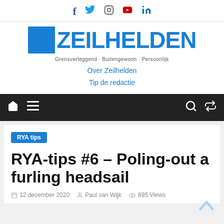[Figure (logo): Social media icons: Facebook, Twitter, Instagram, YouTube, LinkedIn]
[Figure (logo): Zeilhelden logo with blue square and bold blue text. Tagline: Grensverleggend - Buitengewoon - Persoonlijk]
Over Zeilhelden
Tip de redactie
[Figure (other): Black navigation bar with home icon, hamburger menu, search icon, and shuffle icon]
RYA tips
RYA-tips #6 – Poling-out a furling headsail
12 december 2020  Paul van Wijk  895 Views